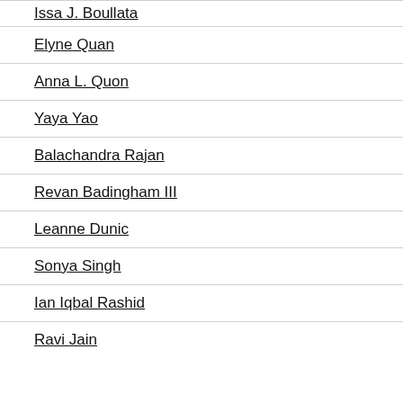Issa J. Boullata
Elyne Quan
Anna L. Quon
Yaya Yao
Balachandra Rajan
Revan Badingham III
Leanne Dunic
Sonya Singh
Ian Iqbal Rashid
Ravi Jain